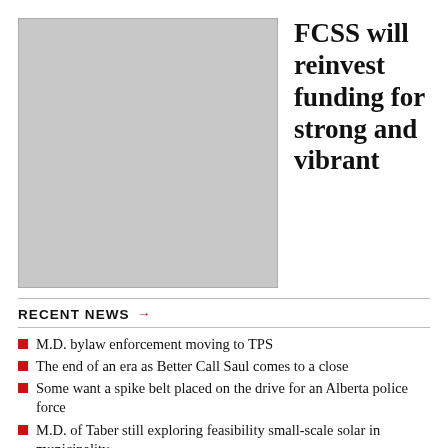[Figure (photo): Gray placeholder image for a photo]
FCSS will reinvest funding for strong and vibrant
RECENT NEWS →
M.D. bylaw enforcement moving to TPS
The end of an era as Better Call Saul comes to a close
Some want a spike belt placed on the drive for an Alberta police force
M.D. of Taber still exploring feasibility small-scale solar in municipality
Fortis Alberta discusses franchise agreement with town council